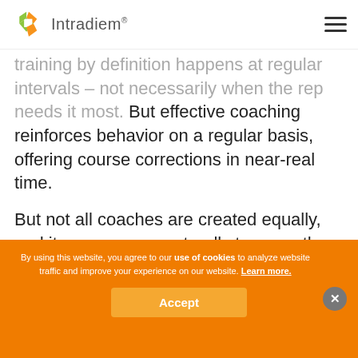Intradiem®
training by definition happens at regular intervals – not necessarily when the rep needs it most. But effective coaching reinforces behavior on a regular basis, offering course corrections in near-real time.
But not all coaches are created equally, and it comes more naturally to some than others. Rather than leaving it to chance, you need to develop a method to evaluate and coach your coaches to determine how they're doing today,
By using this website, you agree to our use of cookies to analyze website traffic and improve your experience on our website. Learn more.
Accept